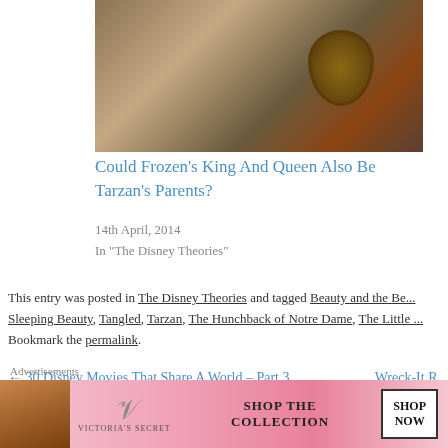[Figure (illustration): Cropped illustration image, appears to be a Disney-related painting showing characters in warm brown tones with a circular framed portrait on the right side]
Could Frozen’s King And Queen Also Be Tarzan’s Parents?
14th April, 2014
In "The Disney Theories"
This entry was posted in The Disney Theories and tagged Beauty and the Be... Sleeping Beauty, Tangled, Tarzan, The Hunchback of Notre Dame, The Little ... Bookmark the permalink.
← 30 Disney Movies That Share A World – Part 3     Wreck-It R...
166 Responses to Is Elsa Rapunzel’s Cous... Frozen And Tangled Connected?
[Figure (screenshot): Victoria's Secret advertisement banner with a pink background, model on left, VS logo, SHOP THE COLLECTION text, and SHOP NOW button]